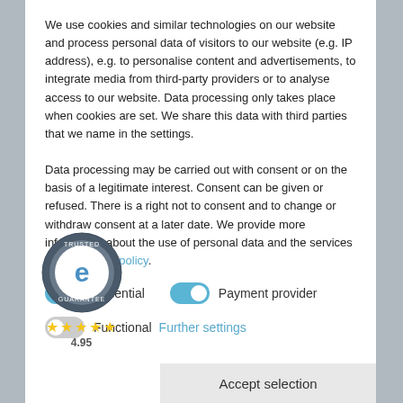We use cookies and similar technologies on our website and process personal data of visitors to our website (e.g. IP address), e.g. to personalise content and advertisements, to integrate media from third-party providers or to analyse access to our website. Data processing only takes place when cookies are set. We share this data with third parties that we name in the settings.

Data processing may be carried out with consent or on the basis of a legitimate interest. Consent can be given or refused. There is a right not to consent and to change or withdraw consent at a later date. We provide more information about the use of personal data and the services in our Privacy policy.
[Figure (logo): Trusted Shops guarantee badge with 'e' logo and stars rating 4.95]
Essential (toggle on)
Payment provider (toggle on)
Functional (toggle off) | Further settings
Accept selection